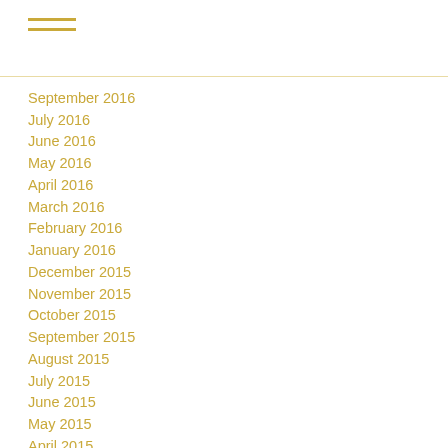menu icon
September 2016
July 2016
June 2016
May 2016
April 2016
March 2016
February 2016
January 2016
December 2015
November 2015
October 2015
September 2015
August 2015
July 2015
June 2015
May 2015
April 2015